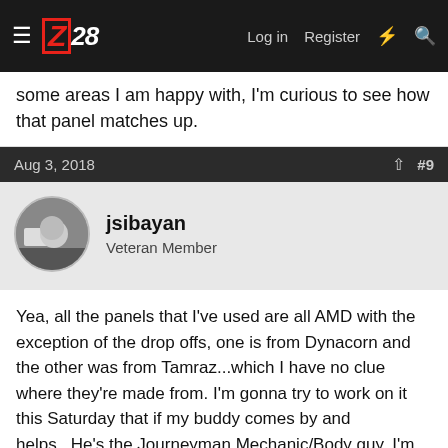Z28 forum navigation bar with logo, Log in, Register links
some areas I am happy with, I'm curious to see how that panel matches up.
Aug 3, 2018  #9
jsibayan
Veteran Member
Yea, all the panels that I've used are all AMD with the exception of the drop offs, one is from Dynacorn and the other was from Tamraz...which I have no clue where they're made from. I'm gonna try to work on it this Saturday that if my buddy comes by and helps...He's the Journeyman Mechanic/Body guy, I'm just the Padawan...LOL
For the most part, all of the AMD sheetmetal were very close to "Dead on" as far as fitment. Then again, this is the first time I've over-did this kind of stuff.